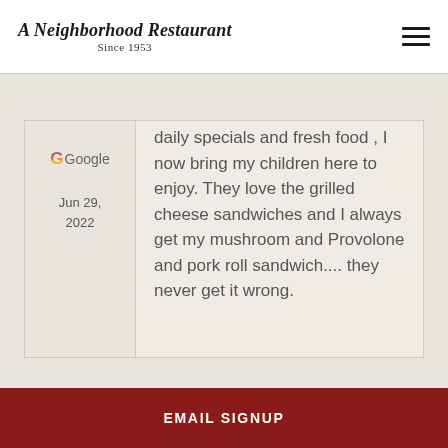A Neighborhood Restaurant Since 1953
daily specials and fresh food , I now bring my children here to enjoy. They love the grilled cheese sandwiches and I always get my mushroom and Provolone and pork roll sandwich.... they never get it wrong.
Google  Jun 29, 2022
EMAIL SIGNUP